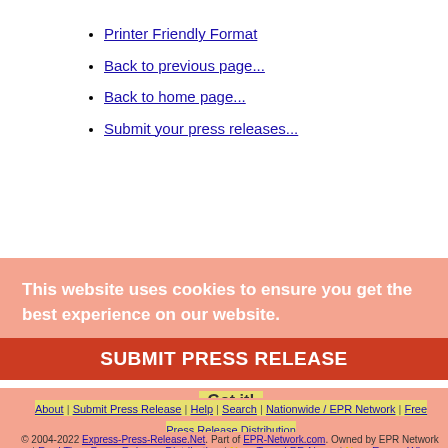Printer Friendly Format
Back to previous page...
Back to home page...
Submit your press releases...
This website uses cookies to ensure you get the best experience on our website.
Learn more
SUBMIT PRESS RELEASE
Got it!
About | Submit Press Release | Help | Search | Nationwide / EPR Network | Free Press Release Distribution | Real Time Press Release Distribution | New Travel PR News | New EuropaWire
© 2004-2022 Express-Press-Release.Net. Part of EPR-Network.com. Owned by EPR Network